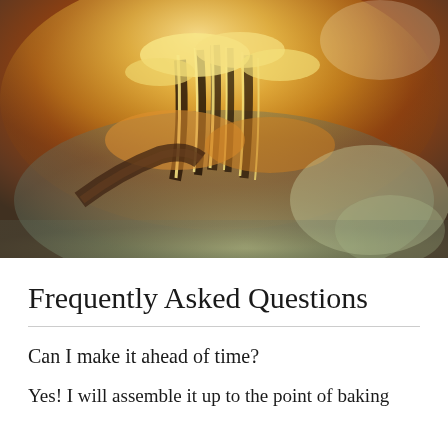[Figure (photo): Close-up photo of cheesy baked casserole dish being scooped with a spoon, showing melted cheese strings pulling away from the dish. Golden-brown bubbling cheese on top with a glass baking dish visible.]
Frequently Asked Questions
Can I make it ahead of time?
Yes! I will assemble it up to the point of baking